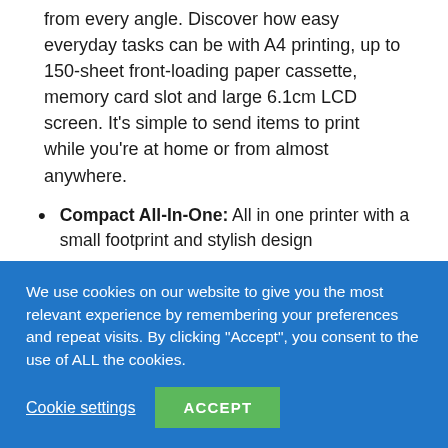from every angle. Discover how easy everyday tasks can be with A4 printing, up to 150-sheet front-loading paper cassette, memory card slot and large 6.1cm LCD screen. It's simple to send items to print while you're at home or from almost anywhere.
Compact All-In-One: All in one printer with a small footprint and stylish design
Flatbed glass for scanning and copying
Wireless Printing: With the Epson XP-5100, print wirelessly with or without a network (Wi-Fi or Wi-Fi Direct)
Mobile Printing: Print from almost anywhere using your
We use cookies on our website to give you the most relevant experience by remembering your preferences and repeat visits. By clicking “Accept”, you consent to the use of ALL the cookies.
Cookie settings | ACCEPT